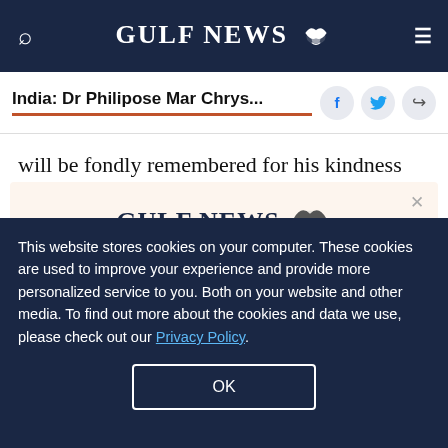GULF NEWS
India: Dr Philipose Mar Chrys...
will be fondly remembered for his kindness and
[Figure (logo): Gulf News logo with eagle emblem and text 'A special offer for our readers. Get the two years All-Access subscription now']
This website stores cookies on your computer. These cookies are used to improve your experience and provide more personalized service to you. Both on your website and other media. To find out more about the cookies and data we use, please check out our Privacy Policy.